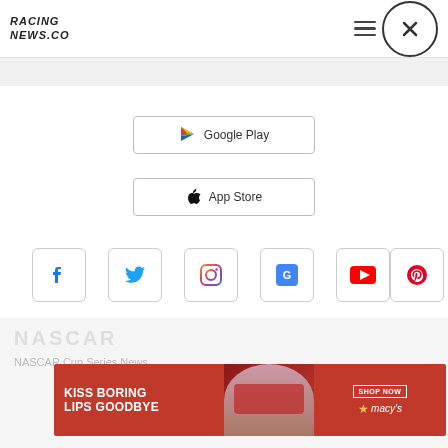[Figure (logo): RacingNews.co logo in stylized italic uppercase text]
[Figure (screenshot): Mobile navigation menu overlay with Google Play and App Store download buttons, social media icon grid (Facebook, Twitter, Instagram, Google Stores, YouTube, Pinterest, Tumblr, LinkedIn, Telegram, Flipboard, Apple News, Email), and close (X) buttons]
[Figure (photo): Advertisement banner: Kiss Boring Lips Goodbye - Macy's Shop Now promotional banner with woman's face wearing red lipstick]
NASCAR
NASCAR Cup Series News